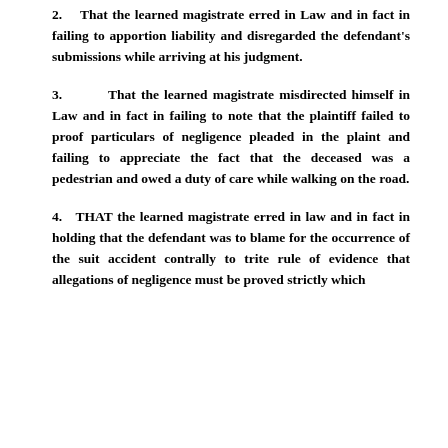2.   That the learned magistrate erred in Law and in fact in failing to apportion liability and disregarded the defendant's submissions while arriving at his judgment.
3.       That the learned magistrate misdirected himself in Law and in fact in failing to note that the plaintiff failed to proof particulars of negligence pleaded in the plaint and failing to appreciate the fact that the deceased was a pedestrian and owed a duty of care while walking on the road.
4.   THAT the learned magistrate erred in law and in fact in holding that the defendant was to blame for the occurrence of the suit accident contrally to trite rule of evidence that allegations of negligence must be proved strictly which